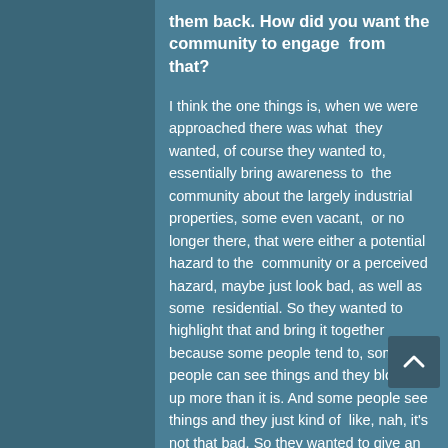them back. How did you want the community to engage  from that?
I think the one things is, when we were approached there was what  they wanted, of course they wanted to, essentially bring awareness to  the community about the largely industrial properties, some even vacant,  or no longer there, that were either a potential hazard to the  community or a perceived hazard, maybe just look bad, as well as some  residential. So they wanted to highlight that and bring it together because some people tend to, some people can see things and they blow it up more than it is. And some people see things and they just kind of  like, nah, it's not that bad. So they wanted to give an